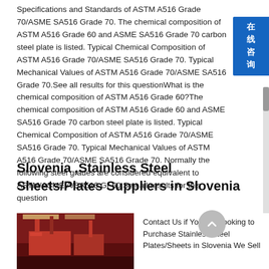Specifications and Standards of ASTM A516 Grade 70/ASME SA516 Grade 70. The chemical composition of ASTM A516 Grade 60 and ASME SA516 Grade 70 carbon steel plate is listed. Typical Chemical Composition of ASTM A516 Grade 70/ASME SA516 Grade 70. Typical Mechanical Values of ASTM A516 Grade 70/ASME SA516 Grade 70.See all results for this questionWhat is the chemical composition of ASTM A516 Grade 60?The chemical composition of ASTM A516 Grade 60 and ASME SA516 Grade 70 carbon steel plate is listed. Typical Chemical Composition of ASTM A516 Grade 70/ASME SA516 Grade 70. Typical Mechanical Values of ASTM A516 Grade 70/ASME SA516 Grade 70. Normally the following steel grades are considered equivalent to ASTM/ASME A/SA516 Gr 60.See all results for this question
Slovenia ,Stainless Steel Sheets/Plates Suppliers in Slovenia
[Figure (photo): Photo of an industrial facility or steel manufacturing plant with red machinery/equipment and pipes visible]
Contact Us if You are Looking to Purchase Stainless Steel Plates/Sheets in Slovenia We Sell